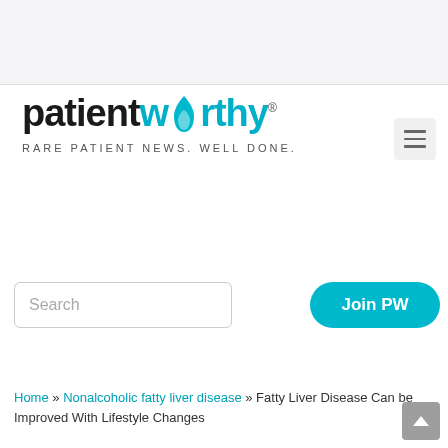[Figure (logo): PatientWorthy logo with flame icon and tagline RARE PATIENT NEWS. WELL DONE.]
[Figure (other): Search input box with placeholder text 'Search']
[Figure (other): Join PW button (teal rounded button)]
Home » Nonalcoholic fatty liver disease » Fatty Liver Disease Can be Improved With Lifestyle Changes